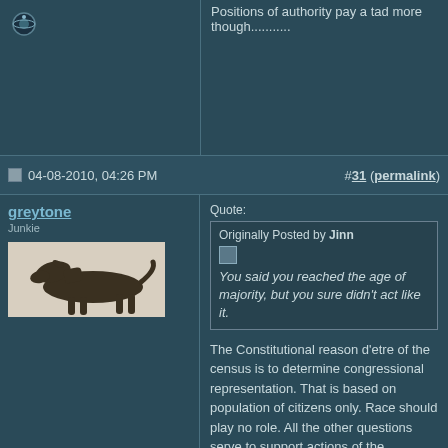Positions of authority pay a tad more though...........
04-08-2010, 04:26 PM   #31 (permalink)
greytone
Junkie
[Figure (illustration): Greyhound dog silhouette avatar image on light background]
Quote:
Originally Posted by Jinn
You said you reached the age of majority, but you sure didn't act like it.
The Constitutional reason d'etre of the census is to determine congressional representation. That is based on population of citizens only. Race should play no role. All the other questions serve to support actions of the government that by their very nature bend or violate the Tenth Amendment. I do have a very childish (literal) view of the greatest social contract and political document in the history of the human race, and I am kind of proud of that.